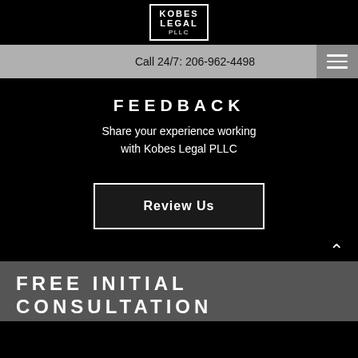[Figure (logo): Kobes Legal PLLC logo — white text in a white-bordered rectangle on black background]
Call 24/7: 206-962-4498
FEEDBACK
Share your experience working with Kobes Legal PLLC
Review Us
FREE INITIAL CONSULTATION